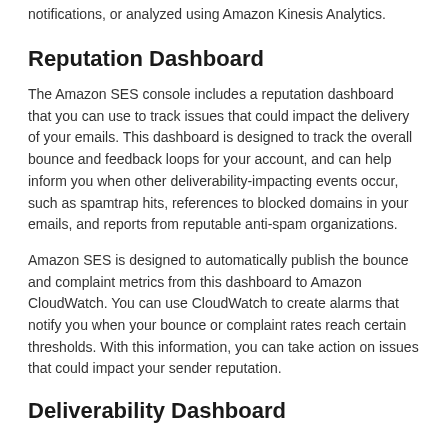notifications, or analyzed using Amazon Kinesis Analytics.
Reputation Dashboard
The Amazon SES console includes a reputation dashboard that you can use to track issues that could impact the delivery of your emails. This dashboard is designed to track the overall bounce and feedback loops for your account, and can help inform you when other deliverability-impacting events occur, such as spamtrap hits, references to blocked domains in your emails, and reports from reputable anti-spam organizations.
Amazon SES is designed to automatically publish the bounce and complaint metrics from this dashboard to Amazon CloudWatch. You can use CloudWatch to create alarms that notify you when your bounce or complaint rates reach certain thresholds. With this information, you can take action on issues that could impact your sender reputation.
Deliverability Dashboard